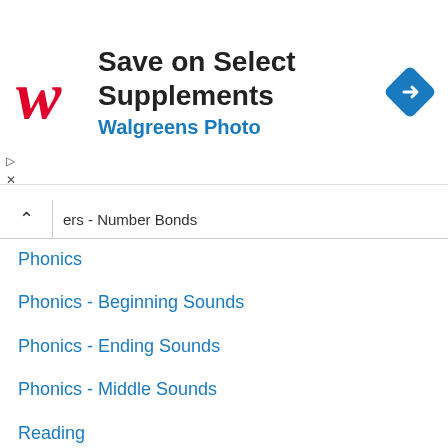[Figure (logo): Walgreens advertisement banner with logo and text: Save on Select Supplements, Walgreens Photo]
ers - Number Bonds
Phonics
Phonics - Beginning Sounds
Phonics - Ending Sounds
Phonics - Middle Sounds
Reading
Reading - Blending
Reading - CVC
Reading - Sight Words
Seasons - Fall Worksheets
Seasons - Spring Worksheets